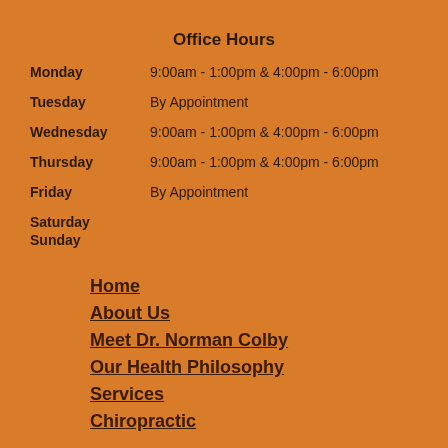Office Hours
Monday: 9:00am - 1:00pm & 4:00pm - 6:00pm
Tuesday: By Appointment
Wednesday: 9:00am - 1:00pm & 4:00pm - 6:00pm
Thursday: 9:00am - 1:00pm & 4:00pm - 6:00pm
Friday: By Appointment
Saturday
Sunday
Home
About Us
Meet Dr. Norman Colby
Our Health Philosophy
Services
Chiropractic